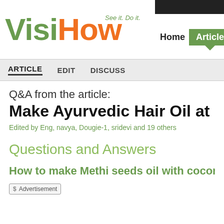[Figure (logo): VisiHow logo with green 'Visi' and orange 'How' text, tagline 'See it. Do it.' in green italic]
Home | Articles
ARTICLE   EDIT   DISCUSS
Q&A from the article:
Make Ayurvedic Hair Oil at Ho…
Edited by Eng, navya, Dougie-1, sridevi and 19 others
Questions and Answers
How to make Methi seeds oil with coconut oil…
Advertisement